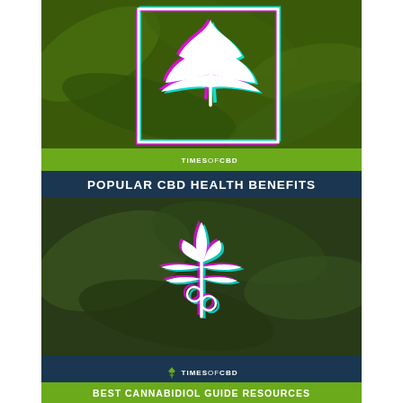[Figure (illustration): Cannabis leaf glitch-art illustration (white leaf with cyan/magenta outline offset) inside a white rectangular border, on a dark green cannabis plant photo background. TimesOfCBD logo at bottom.]
POPULAR CBD HEALTH BENEFITS
[Figure (illustration): Stylized white medical cannabis/CBD logo (leaf with caduceus/snake rod symbol) with cyan/magenta glitch offset, on a dark green blurred cannabis bud photo background. TimesOfCBD logo at bottom.]
BEST CANNABIDIOL GUIDE RESOURCES